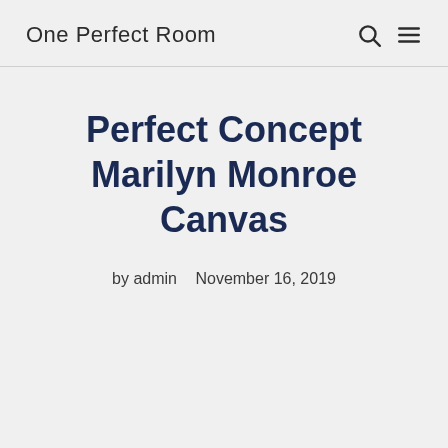One Perfect Room
Perfect Concept Marilyn Monroe Canvas
by admin   November 16, 2019